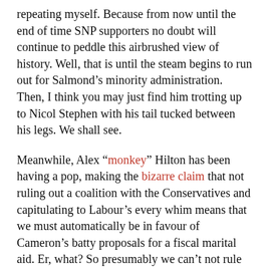repeating myself. Because from now until the end of time SNP supporters no doubt will continue to peddle this airbrushed view of history. Well, that is until the steam begins to run out for Salmond's minority administration. Then, I think you may just find him trotting up to Nicol Stephen with his tail tucked between his legs. We shall see.
Meanwhile, Alex “monkey” Hilton has been having a pop, making the bizarre claim that not ruling out a coalition with the Conservatives and capitulating to Labour’s every whim means that we must automatically be in favour of Cameron’s batty proposals for a fiscal marital aid. Er, what? So presumably we can’t not rule out a coalition with Labour without automatically accepting the need for ID cards, the moral righteousness of Brown and Blair’s war on Iraq and gimmicky policies on anti-social behaviour which have the opposite effect to what they’re supposed to do? I don’t think Alex undestands basic concepts like “negotiation” and “compromise”. He also seems to have missed the